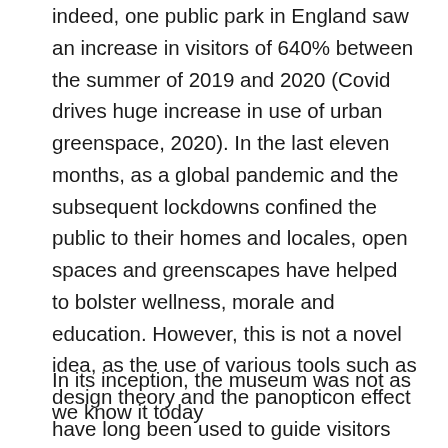indeed, one public park in England saw an increase in visitors of 640% between the summer of 2019 and 2020 (Covid drives huge increase in use of urban greenspace, 2020). In the last eleven months, as a global pandemic and the subsequent lockdowns confined the public to their homes and locales, open spaces and greenscapes have helped to bolster wellness, morale and education. However, this is not a novel idea, as the use of various tools such as design theory and the panopticon effect have long been used to guide visitors spatially as well as in how they interact with displays. In this essay, I will paint the museum as the blueprint for the educational, recreational garden. I will touch on the historical purpose of public gardens, their role in bringing communities together and how they can be modernised to suit modern values.
In its inception, the museum was not as we know it today